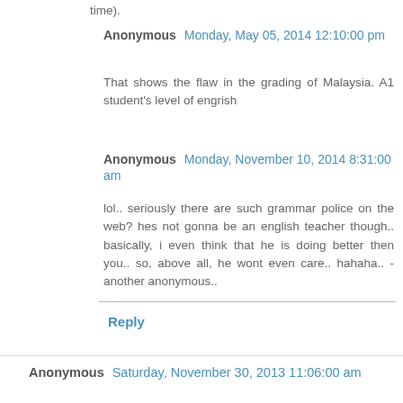time).
Anonymous  Monday, May 05, 2014 12:10:00 pm
That shows the flaw in the grading of Malaysia. A1 student's level of engrish
Anonymous  Monday, November 10, 2014 8:31:00 am
lol.. seriously there are such grammar police on the web? hes not gonna be an english teacher though.. basically, i even think that he is doing better then you.. so, above all, he wont even care.. hahaha.. -another anonymous..
Reply
Anonymous  Saturday, November 30, 2013 11:06:00 am